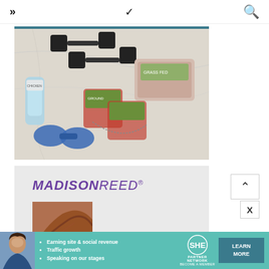>> navigation menu v search
[Figure (photo): Overhead flat-lay photo of dumbbells, meat packages (ground beef and steak cuts), a water bottle, and blue hand weights on a white marble surface.]
[Figure (logo): Madison Reed brand advertisement with purple italic logo text and a woman with auburn/red hair visible below.]
[Figure (infographic): SHE Partner Network banner ad in teal/green color. Shows a woman, bullet points: Earning site & social revenue, Traffic growth, Speaking on our stages. SHE Partner Network logo. LEARN MORE button. BECOME A MEMBER text.]